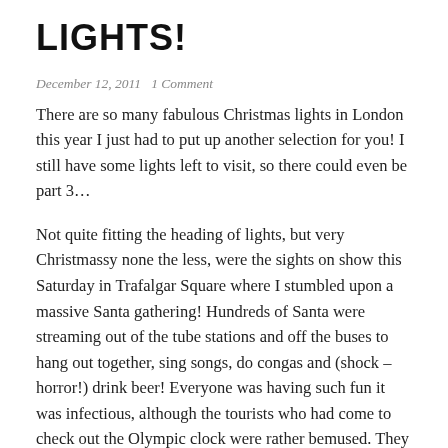LIGHTS!
December 12, 2011   1 Comment
There are so many fabulous Christmas lights in London this year I just had to put up another selection for you!  I still have some lights left to visit, so there could even be part 3…
Not quite fitting the heading of lights, but very Christmassy none the less, were the sights on show this Saturday in Trafalgar Square where I stumbled upon a massive Santa gathering! Hundreds of Santa were streaming out of the tube stations and off the buses to hang out together, sing songs, do congas and (shock – horror!) drink beer!  Everyone was having such fun it was infectious, although the tourists who had come to check out the Olympic clock were rather bemused. They kept asking 'why'? It